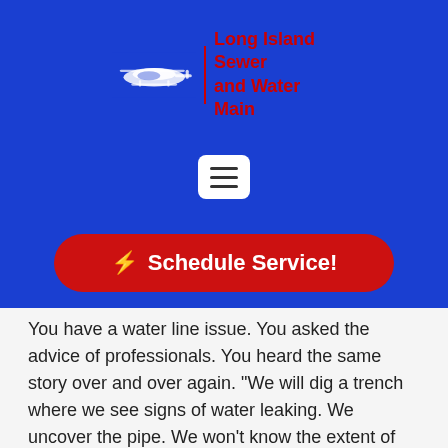[Figure (logo): Long Island Sewer and Water Main logo with helicopter/truck illustration and red text on blue background]
[Figure (other): Hamburger menu button (three horizontal lines) on white rounded square background]
[Figure (other): Red rounded rectangle button with lightning bolt icon and text 'Schedule Service!']
You have a water line issue. You asked the advice of professionals. You heard the same story over and over again. "We will dig a trench where we see signs of water leaking. We uncover the pipe. We won't know the extent of the repair until we expose the pipe." All you can hear in your head is that a repair or